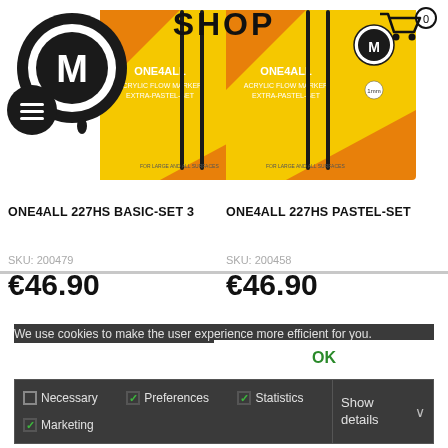SHOP
[Figure (logo): Molotow logo with magnifier and hamburger menu icons overlaid, top-left corner]
[Figure (illustration): Shopping cart icon with badge showing 0, top-right corner]
[Figure (photo): ONE4ALL 227HS Basic-Set 3 product packaging — orange and yellow box with marker pens]
ONE4ALL 227HS BASIC-SET 3
SKU: 200479
€46.90
[Figure (photo): ONE4ALL 227HS Pastel-Set product packaging — orange and yellow box with marker pens]
ONE4ALL 227HS PASTEL-SET
SKU: 200458
€46.90
THIS WEBSITE USES COOKIES
We use cookies to make the user experience more efficient for you.
OK
Necessary
Preferences
Statistics
Marketing
Show details